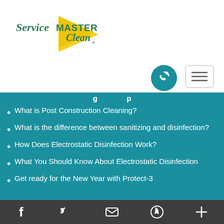[Figure (logo): ServiceMaster Clean logo with green italic text and yellow triangle arrow]
[Figure (other): Teal circular phone callback button]
[Figure (other): Hamburger menu button with three lines]
g p
What is Post Construction Cleaning?
What is the difference between sanitizing and disinfection?
How Does Electrostatic Disinfection Work?
What You Should Know About Electrostatic Disinfection
Get ready for the New Year with Protect-3
Social media icons: Facebook, Twitter, Email, Pinterest, Share